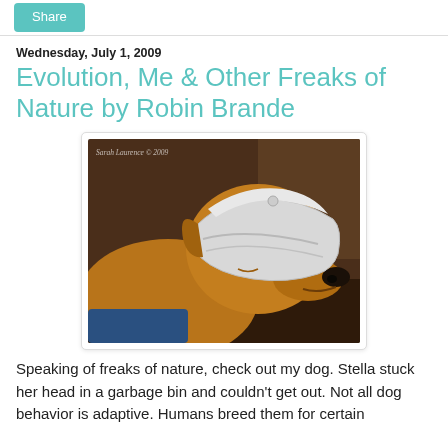Share
Wednesday, July 1, 2009
Evolution, Me & Other Freaks of Nature by Robin Brande
[Figure (photo): A golden/tan dog wearing a white cylindrical garbage bin lid around its head like a collar, photographed in close-up profile. Watermark reads 'Sarah Laurence © 2009'.]
Speaking of freaks of nature, check out my dog. Stella stuck her head in a garbage bin and couldn't get out. Not all dog behavior is adaptive. Humans breed them for certain